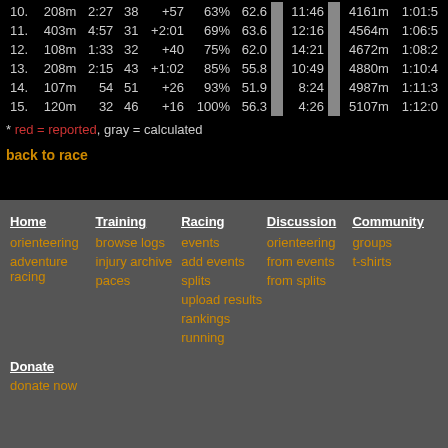| # | dist | time | spts | +time | %best | score |  | leg time |  | total dist | total time |
| --- | --- | --- | --- | --- | --- | --- | --- | --- | --- | --- | --- |
| 10. | 208m | 2:27 | 38 | +57 | 63% | 62.6 |  | 11:46 |  | 4161m | 1:01:5 |
| 11. | 403m | 4:57 | 31 | +2:01 | 69% | 63.6 |  | 12:16 |  | 4564m | 1:06:5 |
| 12. | 108m | 1:33 | 32 | +40 | 75% | 62.0 |  | 14:21 |  | 4672m | 1:08:2 |
| 13. | 208m | 2:15 | 43 | +1:02 | 85% | 55.8 |  | 10:49 |  | 4880m | 1:10:4 |
| 14. | 107m | 54 | 51 | +26 | 93% | 51.9 |  | 8:24 |  | 4987m | 1:11:3 |
| 15. | 120m | 32 | 46 | +16 | 100% | 56.3 |  | 4:26 |  | 5107m | 1:12:0 |
* red = reported, gray = calculated
back to race
Home
orienteering
adventure racing
Training
browse logs
injury archive
paces
Racing
events
add events
splits
upload results
rankings
running
Discussion
orienteering
from events
from splits
Community
groups
t-shirts
Donate
donate now